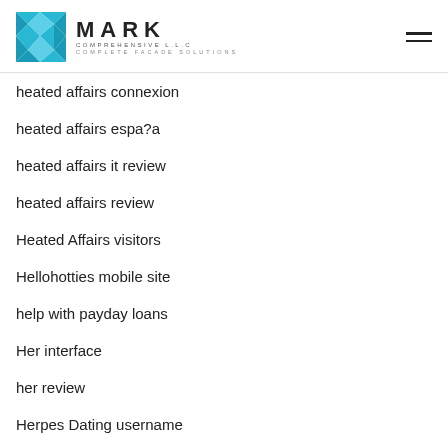MARK COMPREHENSIVE L.L.C — COMPLETE FACADE SOLUTIONS
heated affairs connexion
heated affairs espa?a
heated affairs it review
heated affairs review
Heated Affairs visitors
Hellohotties mobile site
help with payday loans
Her interface
her review
Herpes Dating username